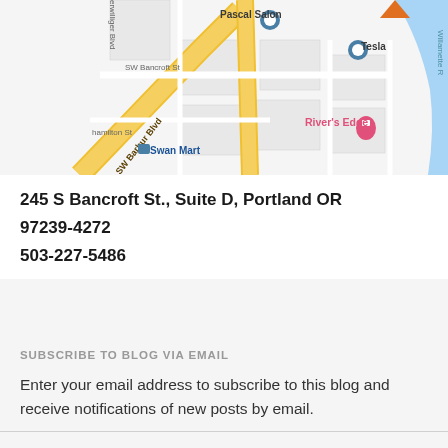[Figure (map): Google Maps screenshot showing area around 245 S Bancroft St, Portland OR. Shows SW Barbur Blvd, SW Bancroft St, Pascal Salon, Swan Mart, Tesla, River's Edge, and Willamette River on the right side.]
245 S Bancroft St., Suite D, Portland OR
97239-4272
503-227-5486
SUBSCRIBE TO BLOG VIA EMAIL
Enter your email address to subscribe to this blog and receive notifications of new posts by email.